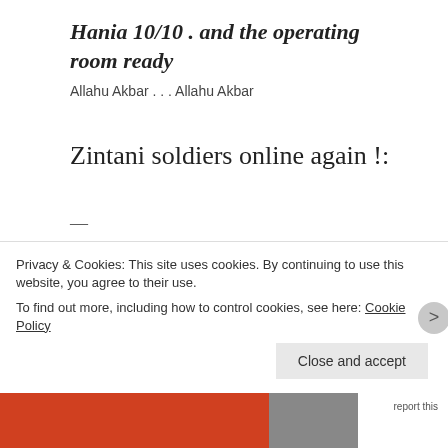Hania 10/10 . and the operating room ready
Allahu Akbar . . . Allahu Akbar
Zintani soldiers online again !:
—
TRIPOLI at 07 AM, on 19 JULY 2014
Operations room Zintan rebels:
It seems that militias of SALAH BADI and
Privacy & Cookies: This site uses cookies. By continuing to use this website, you agree to their use.
To find out more, including how to control cookies, see here: Cookie Policy
Close and accept